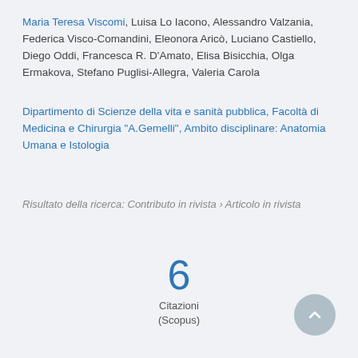Maria Teresa Viscomi, Luisa Lo Iacono, Alessandro Valzania, Federica Visco-Comandini, Eleonora Aricò, Luciano Castiello, Diego Oddi, Francesca R. D'Amato, Elisa Bisicchia, Olga Ermakova, Stefano Puglisi-Allegra, Valeria Carola
Dipartimento di Scienze della vita e sanità pubblica, Facoltà di Medicina e Chirurgia "A.Gemelli", Ambito disciplinare: Anatomia Umana e Istologia
Risultato della ricerca: Contributo in rivista › Articolo in rivista
6
Citazioni
(Scopus)